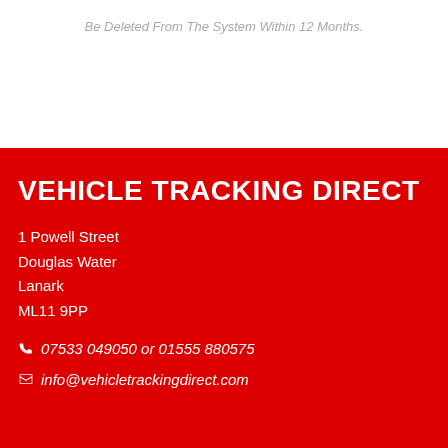Be Deleted From The System Within 12 Months.
VEHICLE TRACKING DIRECT
1 Powell Street
Douglas Water
Lanark
ML11 9PP
07533 049050 or 01555 880575
info@vehicletrackingdirect.com